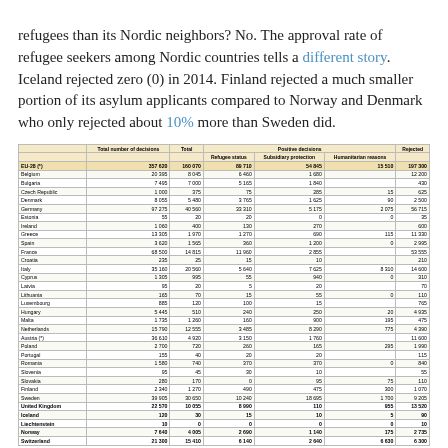refugees than its Nordic neighbors? No. The approval rate of refugee seekers among Nordic countries tells a different story. Iceland rejected zero (0) in 2014. Finland rejected a much smaller portion of its asylum applicants compared to Norway and Denmark who only rejected about 10% more than Sweden did.
|  | Total number of decisions | Total | Positive decisions: Refugee status | Positive decisions: Subsidiary protection | Positive decisions: Humanitarian reasons | Rejected |
| --- | --- | --- | --- | --- | --- | --- |
| EU-28 (*) | 357 620 | 160 070 | 89 710 | 54 845 | 15 510 | 197 300 |
| Belgium | 20 395 | 8 045 | 6 460 | 1 680 |  | 12 200 |
| Bulgaria | 7 495 | 7 000 | 5 165 | 1 840 |  | 430 |
| Czech Republic | 1 000 | 375 | 75 | 285 | 15 | 625 |
| Denmark | 8 055 | 5 480 | 3 765 | 1 625 | 90 | 2 500 |
| Germany | 97 275 | 40 560 | 33 310 | 5 175 | 2 075 | 56 715 |
| Estonia | 55 | 20 | 20 | 0 | 0 | 35 |
| Ireland | 1 060 | 400 | 130 | 270 |  | 600 |
| Greece | 13 305 | 1 970 | 1 270 | 690 | 115 | 11 330 |
| Spain | 3 620 | 1 565 | 360 | 1 200 | 0 | 2 995 |
| France | 68 500 | 14 815 | 11 960 | 2 855 |  | 53 555 |
| Croatia | 235 | 25 | 15 | 10 |  | 210 |
| Italy | 35 160 | 20 560 | 5 640 | 7 625 | 8 310 | 14 600 |
| Cyprus | 1 305 | 995 | 55 | 940 | 0 | 310 |
| Latvia | 95 | 20 | 5 | 20 |  | 70 |
| Lithuania | 165 | 70 | 15 | 55 | 0 | 110 |
| Luxembourg | 885 | 120 | 100 | 15 |  | 765 |
| Hungary | 5 445 | 510 | 240 | 250 | 20 | 4 935 |
| Malta | 1 735 | 1 260 | 160 | 900 | 195 | 475 |
| Netherlands | 15 790 | 12 555 | 3 485 | 8 290 | 775 | 4 390 |
| Austria (*) | 36 610 | 4 920 | 3 150 | 1 760 |  | 11 600 |
| Poland | 2 700 | 720 | 260 | 165 | 295 | 1 990 |
| Portugal | 155 | 40 | 20 | 20 |  | 115 |
| Romania | 1 580 | 740 | 370 | 370 | 0 | 840 |
| Slovenia | 95 | 45 | 30 | 10 |  | 55 |
| Slovakia | 280 | 170 | 0 | 95 | 75 | 110 |
| Finland | 2 340 | 1 270 | 490 | 475 | 300 | 1 070 |
| Sweden | 39 905 | 30 650 | 10 240 | 18 695 | 1 700 | 9 205 |
| United Kingdom | 22 570 | 10 055 | 8 990 | 110 | 955 | 13 520 |
| Iceland | 120 | 30 | 15 | 10 | 5 | 90 |
| Liechtenstein | 10 | 0 | 0 | 0 | 0 | 10 |
| Norway | 7 640 | 4 005 | 2 690 | 1 140 | 175 | 2 735 |
| Switzerland | 21 300 | 15 410 | 6 140 | 2 640 | 6 630 | 6 300 |
(*) Including decisions in Austria
(*) 2013
Source: Eurostat (online data code: migr_asydcfsta)